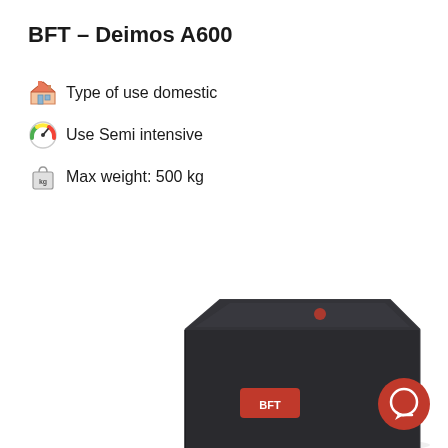BFT – Deimos A600
Type of use domestic
Use Semi intensive
Max weight: 500 kg
[Figure (photo): BFT Deimos A600 sliding gate motor unit — black rectangular housing with chamfered top corners, red BFT logo label on front face, small red indicator light on top]
[Figure (logo): Red circular chat/support button icon in bottom-right corner]